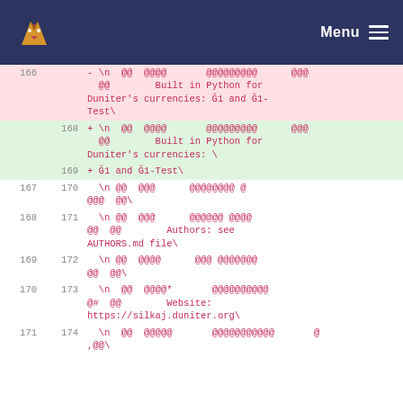Menu
| old | new | code |
| --- | --- | --- |
| 166 |  | - \n  @@  @@@@       @@@@@@@@@      @@@
  @@        Built in Python for Duniter’s currencies: Ğ́ 1 and Ğ́ 1-Test\ |
|  | 168 | + \n  @@  @@@@       @@@@@@@@@      @@@
  @@        Built in Python for Duniter’s currencies: \
 |
|  | 169 | + Ğ́ 1 and Ğ́ 1-Test\ |
| 167 | 170 | \n @@  @@@      @@@@@@@@ @
@@@  @@\ |
| 168 | 171 | \n @@  @@@      @@@@@@ @@@@
@@  @@        Authors: see AUTHORS.md file\ |
| 169 | 172 | \n @@  @@@@      @@@ @@@@@@@
@@  @@\ |
| 170 | 173 | \n  @@  @@@@*       @@@@@@@@@@
@#  @@        Website: https://silkaj.duniter.org\ |
| 171 | 174 | \n  @@  @@@@@       @@@@@@@@@@@       @
,@@\ |